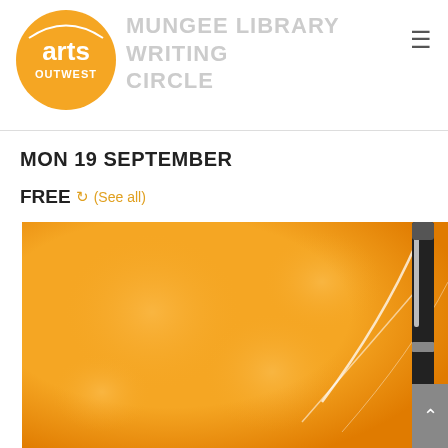Arts OutWest logo and site navigation header
MUNGEE LIBRARY WRITING CIRCLE
MON 19 SEPTEMBER
FREE  (See all)
[Figure (photo): Orange gradient background with white swirl lines and a black ballpoint pen on the right side]